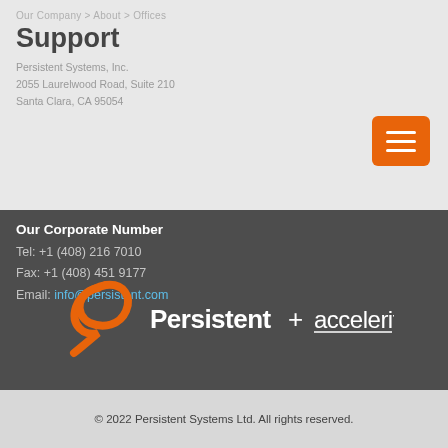Our Company > About > Offices
Support
Persistent Systems, Inc.
2055 Laurelwood Road, Suite 210
Santa Clara, CA 95054
[Figure (other): Orange hamburger menu button]
Our Corporate Number
Tel: +1 (408) 216 7010
Fax: +1 (408) 451 9177
Email: info@persistent.com
[Figure (logo): Persistent + accelerite logo with orange P symbol on dark background]
© 2022 Persistent Systems Ltd. All rights reserved.